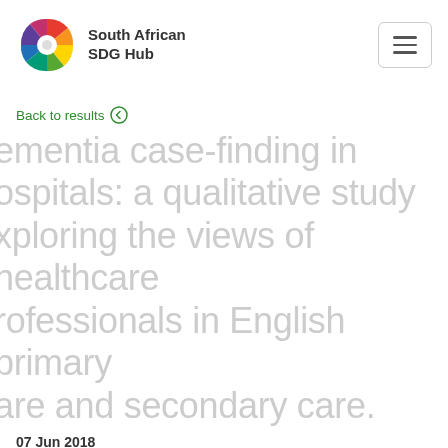[Figure (logo): South African SDG Hub colorful wheel/fan logo with text 'South African SDG Hub']
Back to results ←
Dementia case-finding in hospitals: a qualitative study exploring the views of healthcare professionals in English primary care and secondary care.
07 Jun 2018
OBJECTIVES: In 2012-2013, the English National Health Service mandated hospitals to conduct systematic case-finding of people with dementia among older people with